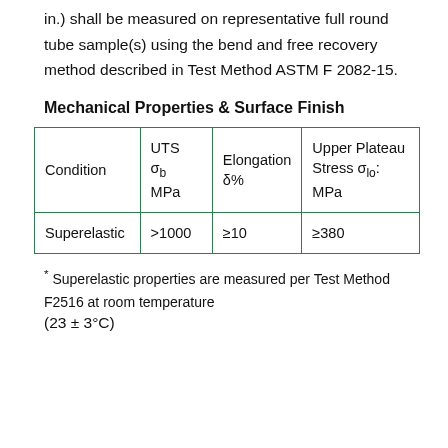in.) shall be measured on representative full round tube sample(s) using the bend and free recovery method described in Test Method ASTM F 2082-15.
Mechanical Properties & Surface Finish
| Condition | UTS σb MPa | Elongation δ% | Upper Plateau Stress σlo MPa |
| --- | --- | --- | --- |
| Superelastic | >1000 | ≥10 | ≥380 |
* Superelastic properties are measured per Test Method F2516 at room temperature (23 ± 3°C)